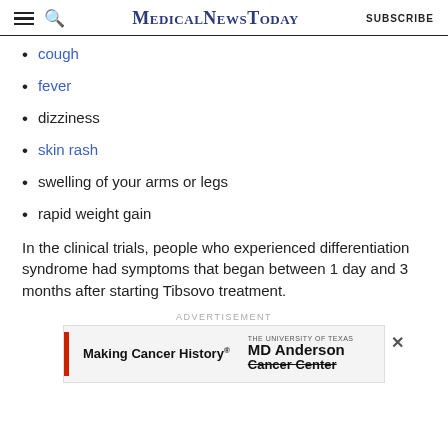MedicalNewsToday  SUBSCRIBE
cough
fever
dizziness
skin rash
swelling of your arms or legs
rapid weight gain
In the clinical trials, people who experienced differentiation syndrome had symptoms that began between 1 day and 3 months after starting Tibsovo treatment.
[Figure (other): MD Anderson Cancer Center advertisement banner with red left bar, text 'Making Cancer History®' and 'THE UNIVERSITY OF TEXAS MD Anderson Cancer Center']